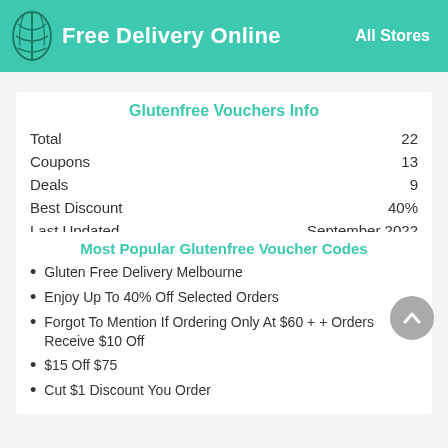Free Delivery Online  |  All Stores
Glutenfree Vouchers Info
| Total | 22 |
| Coupons | 13 |
| Deals | 9 |
| Best Discount | 40% |
| Last Updated | September 2022 |
Most Popular Glutenfree Voucher Codes
Gluten Free Delivery Melbourne
Enjoy Up To 40% Off Selected Orders
Forgot To Mention If Ordering Only At $60 + + Orders Receive $10 Off
$15 Off $75
Cut $1 Discount You Order